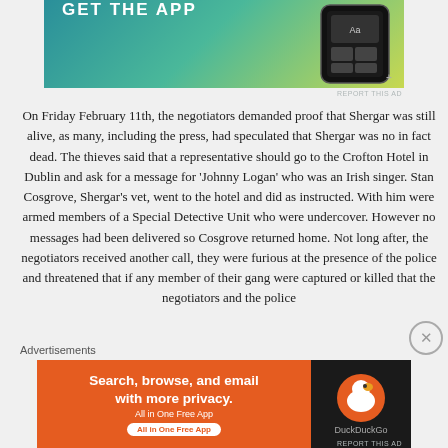[Figure (screenshot): GET THE APP advertisement banner with teal/green gradient background and phone image on right side]
On Friday February 11th, the negotiators demanded proof that Shergar was still alive, as many, including the press, had speculated that Shergar was no in fact dead. The thieves said that a representative should go to the Crofton Hotel in Dublin and ask for a message for ‘Johnny Logan’ who was an Irish singer. Stan Cosgrove, Shergar’s vet, went to the hotel and did as instructed. With him were armed members of a Special Detective Unit who were undercover. However no messages had been delivered so Cosgrove returned home. Not long after, the negotiators received another call, they were furious at the presence of the police and threatened that if any member of their gang were captured or killed that the negotiators and the police
Advertisements
[Figure (screenshot): DuckDuckGo advertisement: Search, browse, and email with more privacy. All in One Free App]